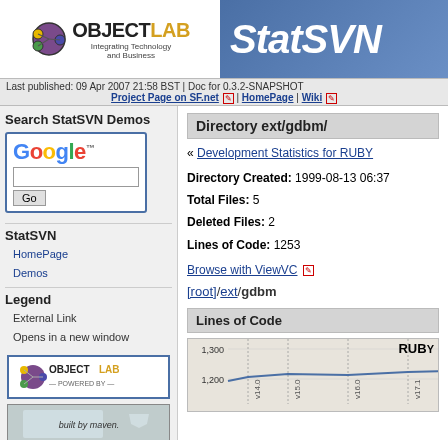[Figure (logo): ObjectLab logo with 'Integrating Technology and Business' subtitle]
[Figure (logo): StatSVN logo in blue/grey banner]
Last published: 09 Apr 2007 21:58 BST | Doc for 0.3.2-SNAPSHOT | Project Page on SF.net | HomePage | Wiki
Search StatSVN Demos
[Figure (logo): Google search logo with text input and Go button]
StatSVN
HomePage
Demos
Legend
External Link
Opens in a new window
[Figure (logo): ObjectLab - Powered By badge]
[Figure (illustration): Built by Maven badge]
Directory ext/gdbm/
« Development Statistics for RUBY
Directory Created: 1999-08-13 06:37
Total Files: 5
Deleted Files: 2
Lines of Code: 1253
Browse with ViewVC
[root]/ext/gdbm
Lines of Code
[Figure (line-chart): Lines of Code chart showing RUBY data with version labels v14.0, v15.0, v16.0, v17.1 on x-axis and values around 1200-1300 on y-axis]